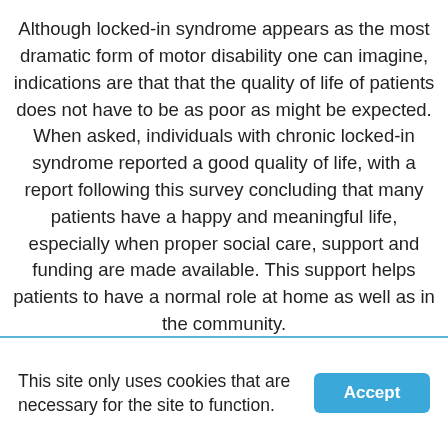Although locked-in syndrome appears as the most dramatic form of motor disability one can imagine, indications are that that the quality of life of patients does not have to be as poor as might be expected. When asked, individuals with chronic locked-in syndrome reported a good quality of life, with a report following this survey concluding that many patients have a happy and meaningful life, especially when proper social care, support and funding are made available. This support helps patients to have a normal role at home as well as in the community.
This site only uses cookies that are necessary for the site to function.